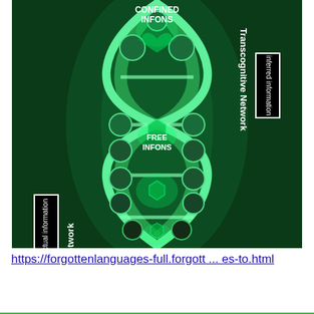[Figure (illustration): A glowing green DNA-like double helix structure with spherical nodes at joints, on a dark green background. Labels on the structure read 'CONFINED INFONS' at the top center, 'FREE INFONS' in the middle center. On the left side, vertical rotated text labels read 'actual information' (in a black box) and 'Transcognitive Network'. On the right side, matching vertical rotated text labels read 'Transcognitive Network' and 'inferred information' (in a black box).]
https://forgottenlanguages-full.forgott ... es-to.html